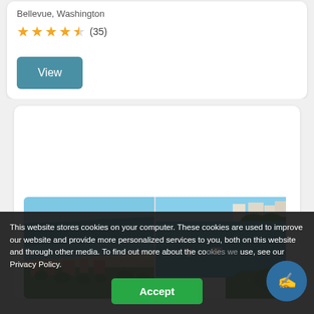Bellevue, Washington
★★★★½ (35)
View
[Figure (photo): Aerial coastal/beach photos showing blue water, sandy beach, tropical vegetation, and buildings in a split two-image panel]
This website stores cookies on your computer. These cookies are used to improve our website and provide more personalized services to you, both on this website and through other media. To find out more about the cookies we use, see our Privacy Policy.
Accept